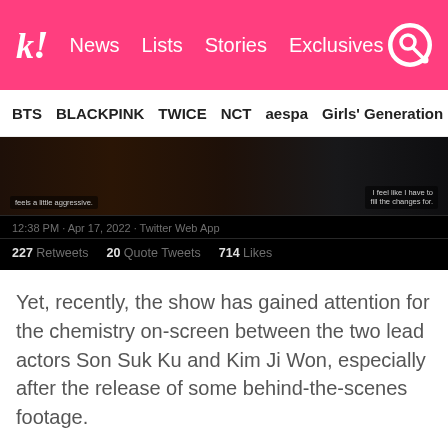k! News Lists Stories Exclusives
BTS BLACKPINK TWICE NCT aespa Girls' Generation
[Figure (screenshot): Screenshot of a Twitter/social media post showing two scenes from a TV show (dark-lit restaurant/bar scenes). Tweet metadata shows: 12:38 PM · Apr 17, 2022 · Twitter Web App. Stats: 227 Retweets, 20 Quote Tweets, 714 Likes.]
Yet, recently, the show has gained attention for the chemistry on-screen between the two lead actors Son Suk Ku and Kim Ji Won, especially after the release of some behind-the-scenes footage.
In the show, the two unlikely suitors meet and their worlds become intertwined through romance.